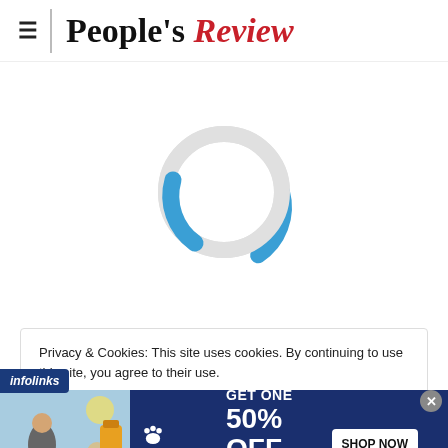People's Review
[Figure (infographic): Loading spinner: a large circle outline in light gray with a blue arc segment at the bottom-left, indicating a page loading state.]
Privacy & Cookies: This site uses cookies. By continuing to use this site, you agree to their use.
[Figure (infographic): Petco advertisement banner with infolinks badge. Dark blue background. Text: BUY ONE, GET ONE 50% OFF. Help support your dog's joints with a premium supplement. SHOP NOW button. Petco logo on left. Photo of woman with dog and supplement bottle.]